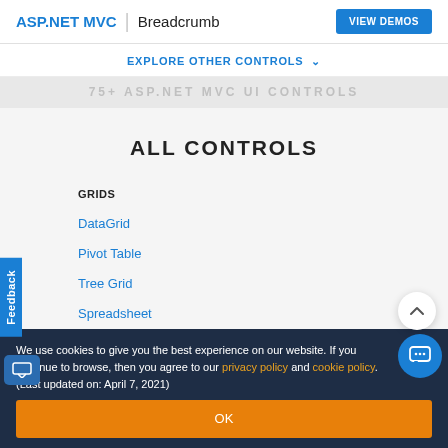ASP.NET MVC | Breadcrumb  VIEW DEMOS
EXPLORE OTHER CONTROLS ∨
75+ ASP.NET MVC UI CONTROLS
ALL CONTROLS
GRIDS
DataGrid
Pivot Table
Tree Grid
Spreadsheet
We use cookies to give you the best experience on our website. If you continue to browse, then you agree to our privacy policy and cookie policy.  (Last updated on: April 7, 2021)
OK